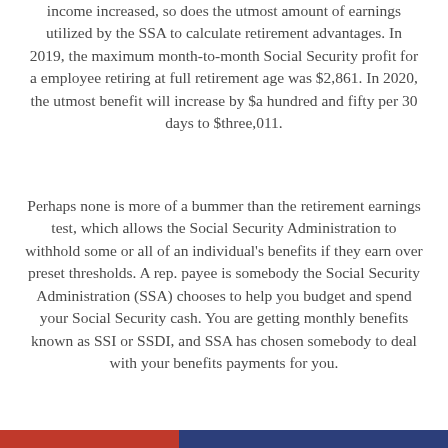income increased, so does the utmost amount of earnings utilized by the SSA to calculate retirement advantages. In 2019, the maximum month-to-month Social Security profit for a employee retiring at full retirement age was $2,861. In 2020, the utmost benefit will increase by $a hundred and fifty per 30 days to $three,011.
Perhaps none is more of a bummer than the retirement earnings test, which allows the Social Security Administration to withhold some or all of an individual's benefits if they earn over preset thresholds. A rep. payee is somebody the Social Security Administration (SSA) chooses to help you budget and spend your Social Security cash. You are getting monthly benefits known as SSI or SSDI, and SSA has chosen somebody to deal with your benefits payments for you.